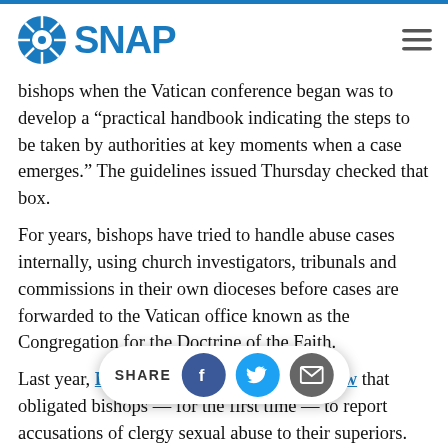SNAP
bishops when the Vatican conference began was to develop a “practical handbook indicating the steps to be taken by authorities at key moments when a case emerges.” The guidelines issued Thursday checked that box.
For years, bishops have tried to handle abuse cases internally, using church investigators, tribunals and commissions in their own dioceses before cases are forwarded to the Vatican office known as the Congregation for the Doctrine of the Faith.
Last year, Pope Francis issued a church law that obligated bishops — for the first time — to report accusations of clergy sexual abuse to their superiors.
Until now, though, the Vatican had expected bishops to report abu… cases to the police and prosecutors only when required by law. Many